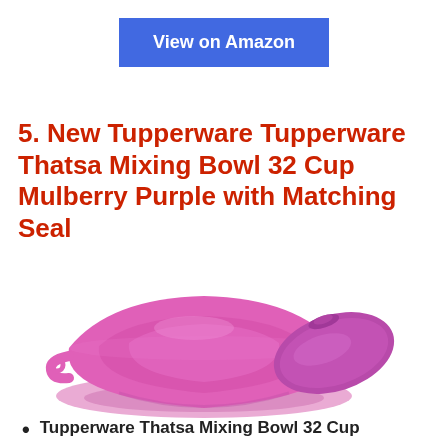View on Amazon
5. New Tupperware Tupperware Thatsa Mixing Bowl 32 Cup Mulberry Purple with Matching Seal
[Figure (photo): A pink/mulberry Tupperware Thatsa Mixing Bowl with a matching purple lid placed to the side, shown on a white background.]
Tupperware Thatsa Mixing Bowl 32 Cup